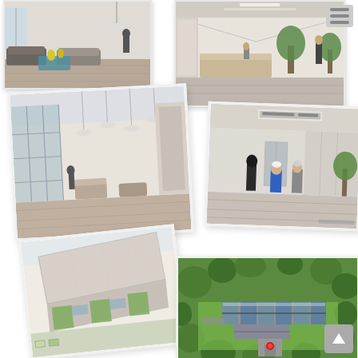[Figure (illustration): Interior rendering of a living room with sofas, coffee table, and yellow accent pieces]
[Figure (illustration): Interior rendering of a corridor/reception area with plants and a person standing]
[Figure (illustration): Large interior hall sketch showing hanging lights, seating areas and floor-to-ceiling windows]
[Figure (illustration): Interior lobby rendering with three people standing, reception desk and large windows]
[Figure (illustration): Exterior aerial sketch/3D model of a building complex with green sections and roof view]
[Figure (photo): Aerial photograph of a building complex surrounded by trees and green lawn]